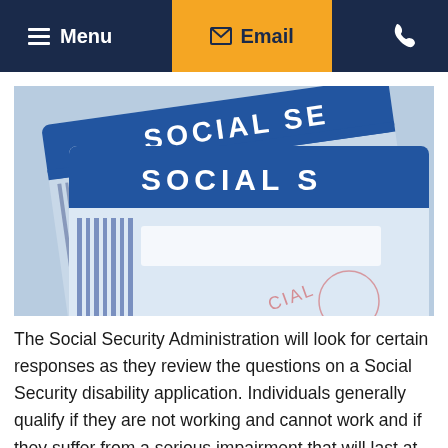Menu  Email  Phone
[Figure (photo): Close-up photograph of multiple Social Security cards fanned out, showing partial text 'SOCIAL SE' and 'SOCIAL S' in white bold letters on blue card backgrounds.]
The Social Security Administration will look for certain responses as they review the questions on a Social Security disability application. Individuals generally qualify if they are not working and cannot work and if they suffer from a serious impairment that will last at least a year or could be fatal. In addition, the SSA has a specific list of impairments that they use to determine